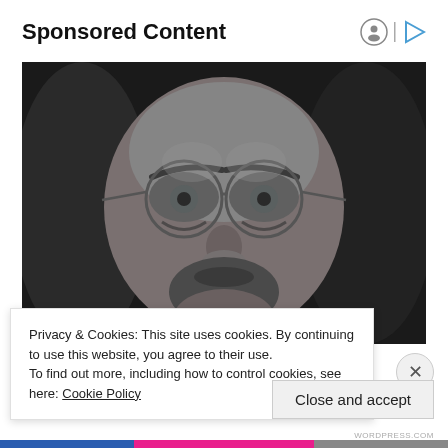Sponsored Content
[Figure (photo): Black and white close-up portrait of a young man with long hair, round wire-framed glasses, and facial stubble, looking directly at the camera. Partial text/logo visible at bottom right of image.]
Privacy & Cookies: This site uses cookies. By continuing to use this website, you agree to their use.
To find out more, including how to control cookies, see here: Cookie Policy
Close and accept